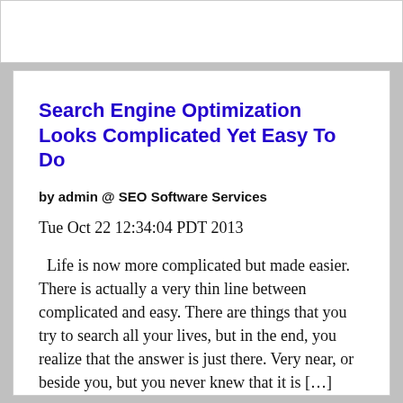Search Engine Optimization Looks Complicated Yet Easy To Do
by admin @ SEO Software Services
Tue Oct 22 12:34:04 PDT 2013
Life is now more complicated but made easier. There is actually a very thin line between complicated and easy. There are things that you try to search all your lives, but in the end, you realize that the answer is just there. Very near, or beside you, but you never knew that it is […]